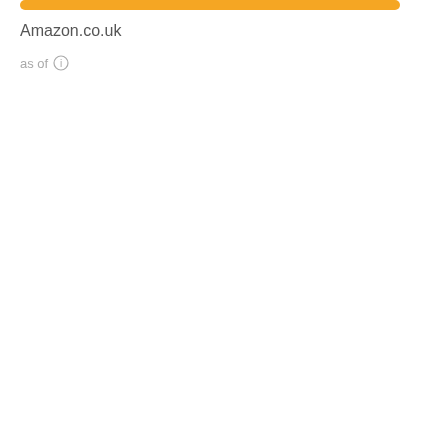[Figure (other): Orange/yellow horizontal bar at top of page]
Amazon.co.uk
as of (i)